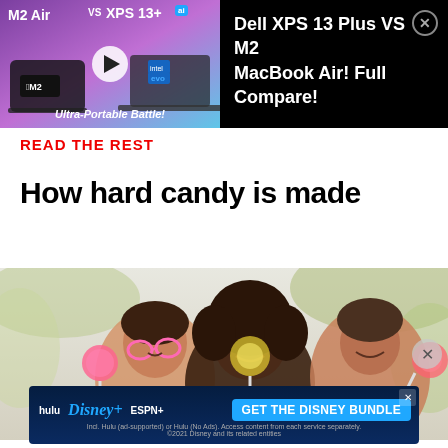[Figure (screenshot): Advertisement banner: Dell XPS 13 Plus VS M2 MacBook Air comparison video thumbnail on left (purple/pink gradient background, M2 chip logo, Intel Evo badge, play button) and text 'Dell XPS 13 Plus VS M2 MacBook Air! Full Compare!' on black background on right, with close (X) button.]
READ THE REST
How hard candy is made
[Figure (photo): Three children/young people holding lollipop candies up to their eyes, smiling, outdoors with blurred green background. Close button (X circle) on the right side.]
Report an ad
[Figure (screenshot): Disney Bundle advertisement: dark blue background with hulu, Disney+, ESPN+ logos on the left. 'GET THE DISNEY BUNDLE' call-to-action button in blue. Small text: 'Incl. Hulu (ad-supported) or Hulu (No Ads). Access content from each service separately. ©2021 Disney and its related entities.' Close (X) button in top-right corner.]